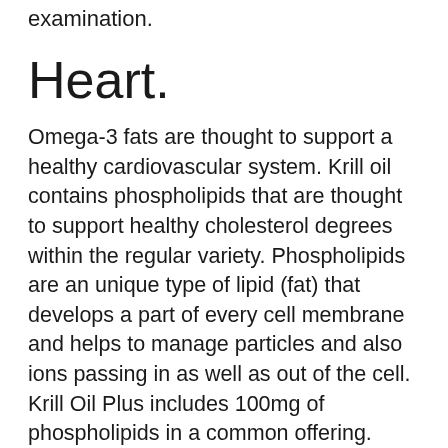examination.
Heart.
Omega-3 fats are thought to support a healthy cardiovascular system. Krill oil contains phospholipids that are thought to support healthy cholesterol degrees within the regular variety. Phospholipids are an unique type of lipid (fat) that develops a part of every cell membrane and helps to manage particles and also ions passing in as well as out of the cell. Krill Oil Plus includes 100mg of phospholipids in a common offering.
The studies have revealed a mix of results, some excellent, some negative. I discovered a research that contrasts older and extra